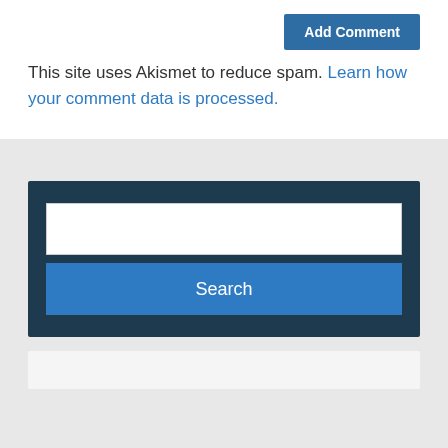This site uses Akismet to reduce spam. Learn how your comment data is processed.
[Figure (screenshot): Search widget with a white text input field and a blue Search button on a dark navy background]
[Figure (screenshot): Bottom white/light card section partially visible]